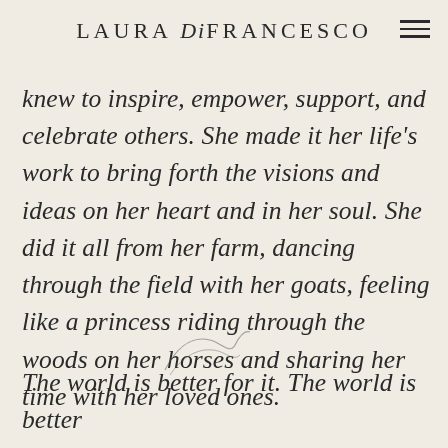LAURA DiFRANCESCO
knew to inspire, empower, support, and celebrate others. She made it her life's work to bring forth the visions and ideas on her heart and in her soul. She did it all from her farm, dancing through the field with her goats, feeling like a princess riding through the woods on her horses and sharing her time with her loved ones.
The world is better for it. The world is better for her.